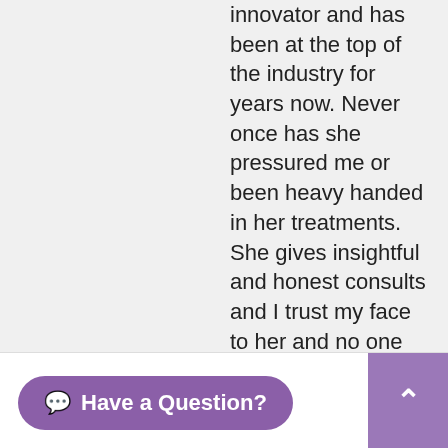innovator and has been at the top of the industry for years now. Never once has she pressured me or been heavy handed in her treatments. She gives insightful and honest consults and I trust my face to her and no one else. I moved to LA for a couple years and saw several top injectors during that time only to be injured and/or disappointed each time. I'm am thrilled to be back in the GTA and back to trusting the team at LA. Over the years I have also been a huge fan of their state of the art Laser Hair Removal, skin treatments and facial services. I also have used their skincare line exclusively for 10+ years. An absolute gem in the heart of Burlington. 🌟💎
Have a Question?